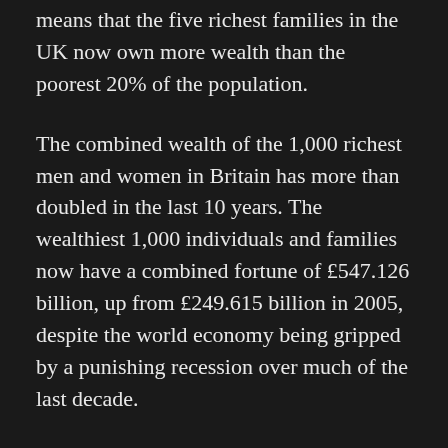means that the five richest families in the UK now own more wealth than the poorest 20% of the population.
The combined wealth of the 1,000 richest men and women in Britain has more than doubled in the last 10 years. The wealthiest 1,000 individuals and families now have a combined fortune of £547.126 billion, up from £249.615 billion in 2005, despite the world economy being gripped by a punishing recession over much of the last decade.
Meanwhile, thousands of families survive on the breadline, make weekly use of food banks or starve due to draconian benefits sanctions.